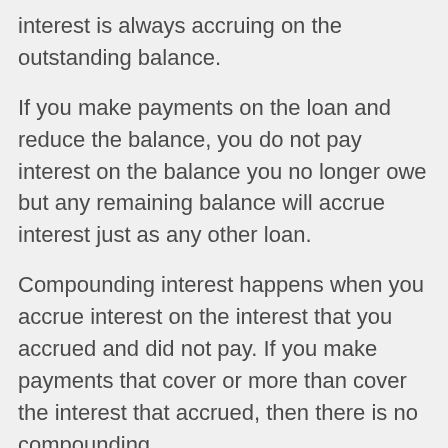interest is always accruing on the outstanding balance.
If you make payments on the loan and reduce the balance, you do not pay interest on the balance you no longer owe but any remaining balance will accrue interest just as any other loan.
Compounding interest happens when you accrue interest on the interest that you accrued and did not pay. If you make payments that cover or more than cover the interest that accrued, then there is no compounding.
The beauty of a reverse mortgage is